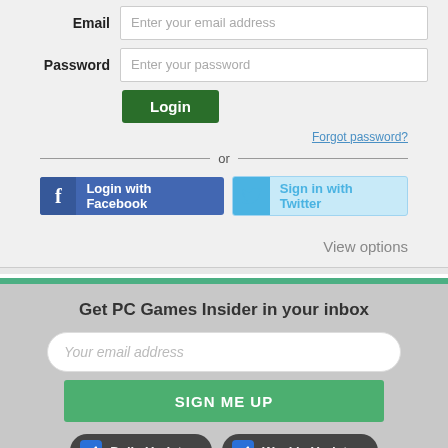Email — Enter your email address
Password — Enter your password
Login
Forgot password?
Login with Facebook
Sign in with Twitter
View options
Get PC Games Insider in your inbox
Your email address
SIGN ME UP
Daily Updates
Weekly Updates
Terms of Use and Privacy Policy